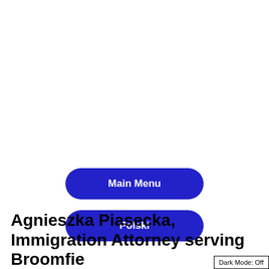[Figure (screenshot): Navigation button labeled 'Main Menu' with dark blue rounded pill background and white bold text]
[Figure (screenshot): Navigation button labeled 'Polski' with dark blue rounded pill background and white bold text]
Agnieszka Piasecka, Immigration Attorney serving Broomfie
Dark Mode: Off